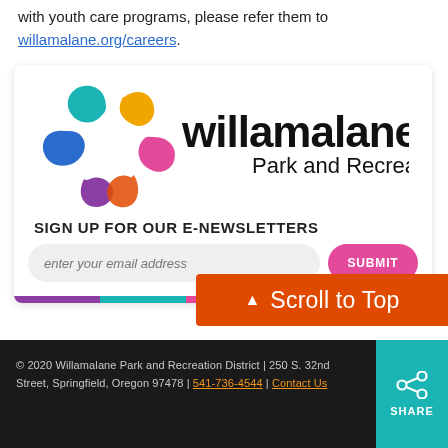with youth care programs, please refer them to willamalane.org/careers.
[Figure (logo): Willamalane Park and Recreation District logo with colorful swirl and bold text]
SIGN UP FOR OUR E-NEWSLETTERS
enter your email address
SUBMIT
▲ Scroll to Top
© 2020 Willamalane Park and Recreation District | 250 S. 32nd Street, Springfield, Oregon 97478 | 541-736-4544 | Contact Us